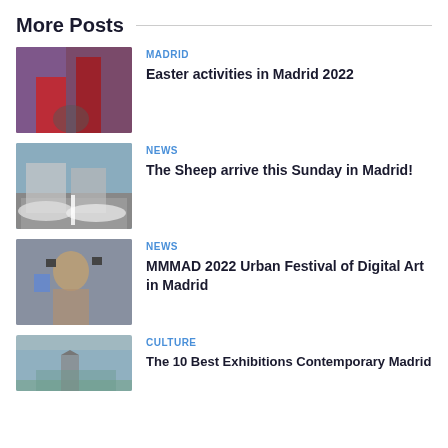More Posts
[Figure (photo): Easter procession scene with colorful robes]
MADRID
Easter activities in Madrid 2022
[Figure (photo): Sheep walking through Madrid street]
NEWS
The Sheep arrive this Sunday in Madrid!
[Figure (photo): Woman with digital art headset device]
NEWS
MMMAD 2022 Urban Festival of Digital Art in Madrid
[Figure (photo): Cultural landmark in Madrid]
CULTURE
The 10 Best Exhibitions Contemporary Madrid